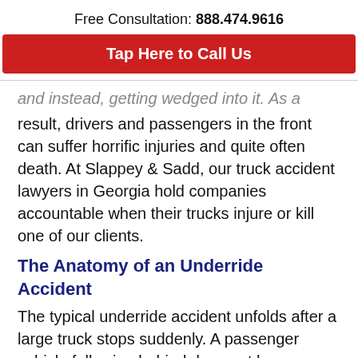Free Consultation: 888.474.9616
Tap Here to Call Us
...and instead, getting wedged into it. As a result, drivers and passengers in the front can suffer horrific injuries and quite often death. At Slappey & Sadd, our truck accident lawyers in Georgia hold companies accountable when their trucks injure or kill one of our clients.
The Anatomy of an Underride Accident
The typical underride accident unfolds after a large truck stops suddenly. A passenger vehicle following behind does not have sufficient time to brake and avoid a crash. Instead, the car drives straight into the back of